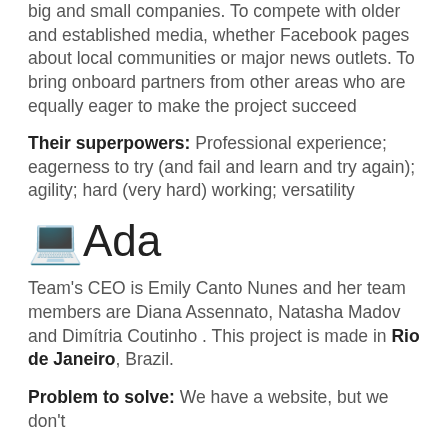big and small companies. To compete with older and established media, whether Facebook pages about local communities or major news outlets. To bring onboard partners from other areas who are equally eager to make the project succeed
Their superpowers: Professional experience; eagerness to try (and fail and learn and try again); agility; hard (very hard) working; versatility
Ada
Team's CEO is Emily Canto Nunes and her team members are Diana Assennato, Natasha Madov and Dimítria Coutinho . This project is made in Rio de Janeiro, Brazil.
Problem to solve: We have a website, but we don't